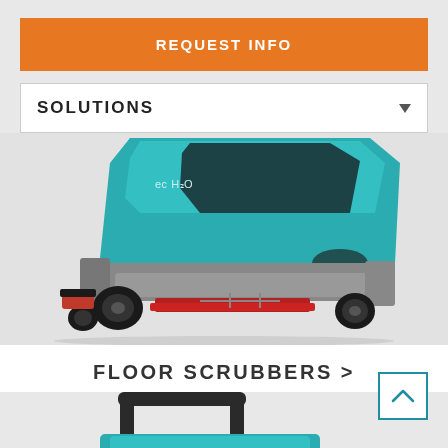REQUEST INFO
SOLUTIONS
[Figure (photo): Teal/turquoise Tennant ride-on floor scrubber machine with ec H2O technology, shown from front-left angle with gray body panels and red squeegee blade at bottom]
FLOOR SCRUBBERS >
[Figure (photo): Partial view of another teal floor cleaning machine, showing top frame/handle bars and upper body, cropped at bottom of page]